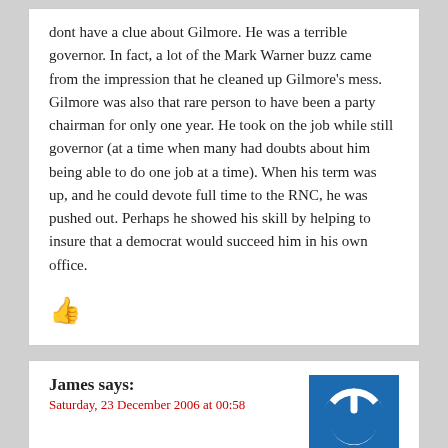dont have a clue about Gilmore. He was a terrible governor. In fact, a lot of the Mark Warner buzz came from the impression that he cleaned up Gilmore's mess. Gilmore was also that rare person to have been a party chairman for only one year. He took on the job while still governor (at a time when many had doubts about him being able to do one job at a time). When his term was up, and he could devote full time to the RNC, he was pushed out. Perhaps he showed his skill by helping to insure that a democrat would succeed him in his own office.
[Figure (illustration): Red thumbs-up icon]
James says:
Saturday, 23 December 2006 at 00:58
[Figure (illustration): Blue square avatar with white power button icon]
Wow, Tano. You're a jerk.
And saying Gilmore isn't charismatic is not true! I've known